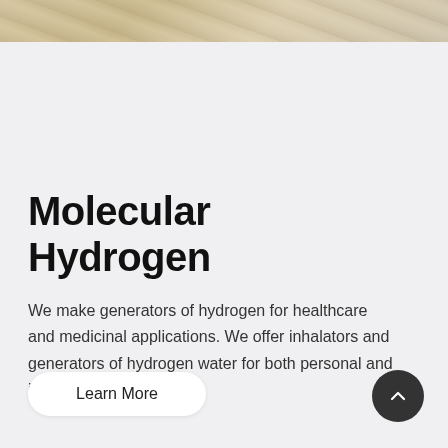[Figure (photo): Partial view of a decorative or architectural element with warm golden/beige tones, cropped at top of page]
Molecular Hydrogen
We make generators of hydrogen for healthcare and medicinal applications. We offer inhalators and generators of hydrogen water for both personal and institutional use.
Learn More